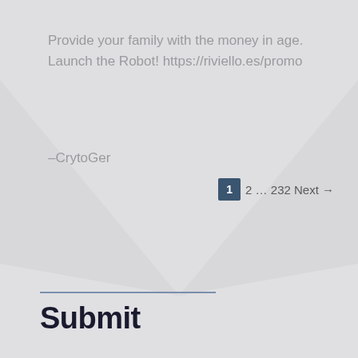Provide your family with the money in age. Launch the Robot! https://riviello.es/promo
–CrytoGer
1  2 ... 232 Next →
Submit